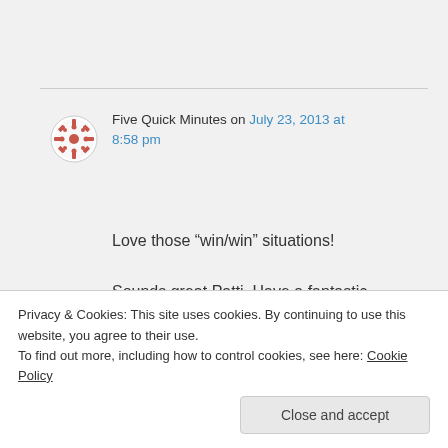Five Quick Minutes on July 23, 2013 at 8:58 pm
Love those “win/win” situations! Sounds great Patti. Have a fantastic day, and we’ll be talking again soon.

Christian
★ Like
Privacy & Cookies: This site uses cookies. By continuing to use this website, you agree to their use.
To find out more, including how to control cookies, see here: Cookie Policy
Close and accept
Excellent.